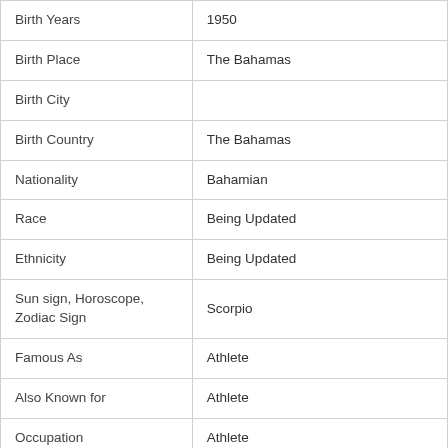| Field | Value |
| --- | --- |
| Birth Years | 1950 |
| Birth Place | The Bahamas |
| Birth City |  |
| Birth Country | The Bahamas |
| Nationality | Bahamian |
| Race | Being Updated |
| Ethnicity | Being Updated |
| Sun sign, Horoscope, Zodiac Sign | Scorpio |
| Famous As | Athlete |
| Also Known for | Athlete |
| Occupation | Athlete |
|  |  |